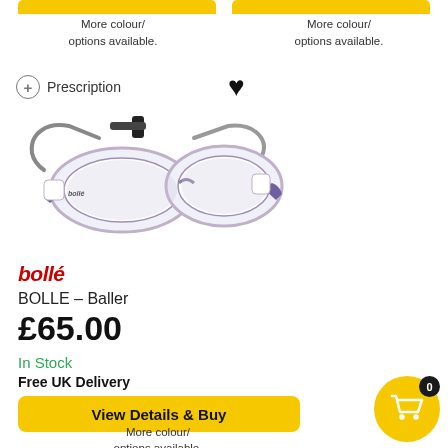[Figure (illustration): Two yellow button bars at top of page (partially cut off)]
More colour/
options available.
More colour/
options available.
Prescription
[Figure (photo): Bollé Baller sports goggles/glasses in white and purple with elastic strap]
bollé
BOLLE - Baller
£65.00
In Stock
Free UK Delivery
View Details & Buy
More colour/
options available.
[Figure (illustration): Yellow shopping cart circle button with badge showing 0]